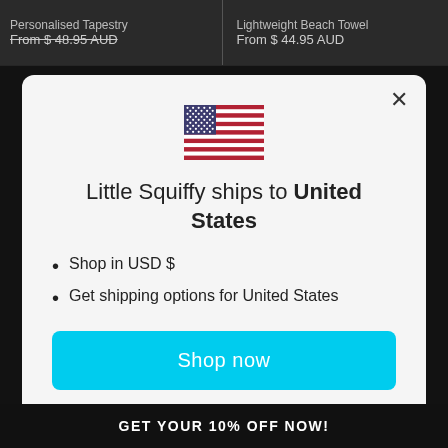Personalised Tapestry
From $ 48.95 AUD
Lightweight Beach Towel
From $ 44.95 AUD
[Figure (illustration): US flag emoji/icon centered in modal]
Little Squiffy ships to United States
Shop in USD $
Get shipping options for United States
Shop now
Change shipping country
GET YOUR 10% OFF NOW!